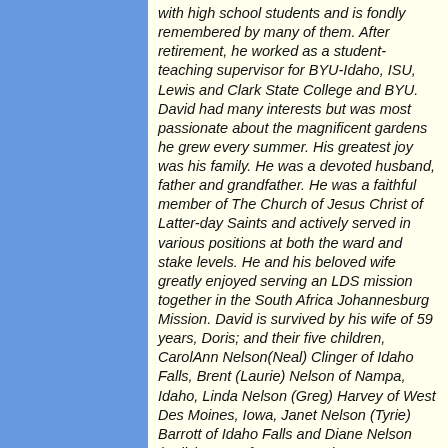with high school students and is fondly remembered by many of them. After retirement, he worked as a student-teaching supervisor for BYU-Idaho, ISU, Lewis and Clark State College and BYU. David had many interests but was most passionate about the magnificent gardens he grew every summer. His greatest joy was his family. He was a devoted husband, father and grandfather. He was a faithful member of The Church of Jesus Christ of Latter-day Saints and actively served in various positions at both the ward and stake levels. He and his beloved wife greatly enjoyed serving an LDS mission together in the South Africa Johannesburg Mission. David is survived by his wife of 59 years, Doris; and their five children, CarolAnn Nelson(Neal) Clinger of Idaho Falls, Brent (Laurie) Nelson of Nampa, Idaho, Linda Nelson (Greg) Harvey of West Des Moines, Iowa, Janet Nelson (Tyrie) Barrott of Idaho Falls and Diane Nelson (Kelly) Kunz of Murray, Utah; 17 grandchildren; three great-grandchildren; and his brother, Ralph O. Nelson of Idaho. Idaho...